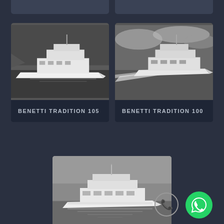[Figure (photo): Partial top strip showing two partially visible yacht card thumbnails]
[Figure (photo): Black and white photo of Benetti Tradition 105 luxury motor yacht on calm water]
BENETTI TRADITION 105
[Figure (photo): Black and white photo of Benetti Tradition 100 luxury motor yacht underway with bow wave]
BENETTI TRADITION 100
[Figure (photo): Black and white photo of Benetti Delfino 93 luxury motor yacht on calm water with reflection]
BENETTI DELFINO 93